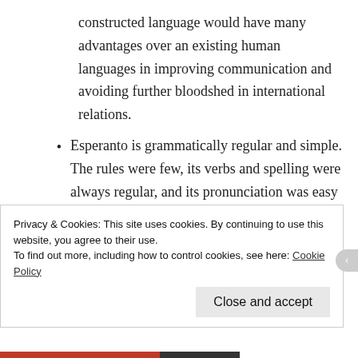constructed language would have many advantages over an existing human languages in improving communication and avoiding further bloodshed in international relations.
Esperanto is grammatically regular and simple. The rules were few, its verbs and spelling were always regular, and its pronunciation was easy to master.
By using a constructed language, no one would have the upper hand in international
Privacy & Cookies: This site uses cookies. By continuing to use this website, you agree to their use.
To find out more, including how to control cookies, see here: Cookie Policy